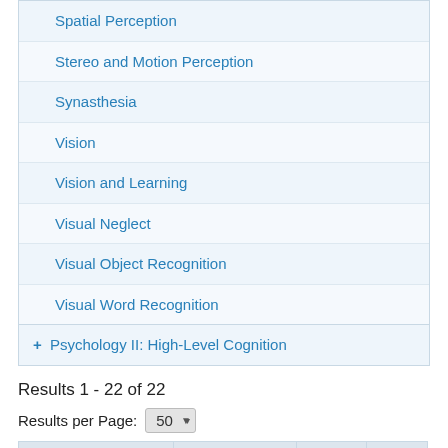Spatial Perception
Stereo and Motion Perception
Synasthesia
Vision
Vision and Learning
Visual Neglect
Visual Object Recognition
Visual Word Recognition
+ Psychology II: High-Level Cognition
Results 1 - 22 of 22
Results per Page: 50
| Title | Author | Content Type | Pub Date |
| --- | --- | --- | --- |